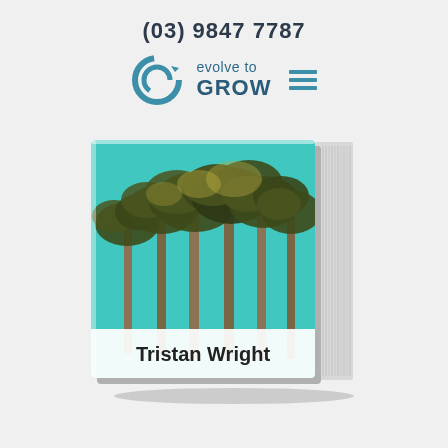(03) 9847 7787
[Figure (logo): Evolve to GROW logo with circular arrow icon, teal/navy color scheme, and hamburger menu icon]
[Figure (photo): A book with a photo cover showing tall palm trees against a teal sky, with a white banner at the bottom reading 'Tristan Wright'. The book is shown in a 3D perspective with visible spine pages on the right side.]